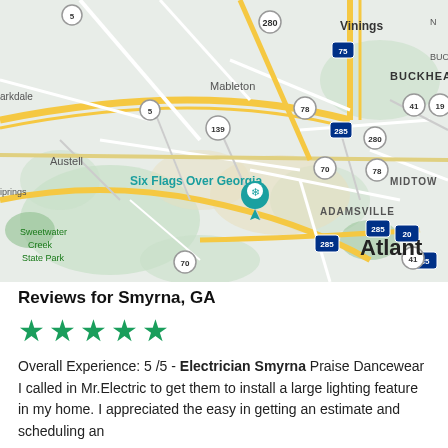[Figure (map): Google Maps view showing the area around Smyrna/Six Flags Over Georgia, Atlanta, GA, with roads, highways (I-75, I-285, I-20, I-85), and labeled areas including Vinings, Buckhead, Midtown, Atlanta, Mableton, Austell, Sweetwater Creek State Park, Adamsville, and a teal location pin near Six Flags Over Georgia.]
Reviews for Smyrna, GA
Overall Experience: 5 /5 - Electrician Smyrna Praise Dancewear
I called in Mr.Electric to get them to install a large lighting feature in my home. I appreciated the easy in getting an estimate and scheduling an